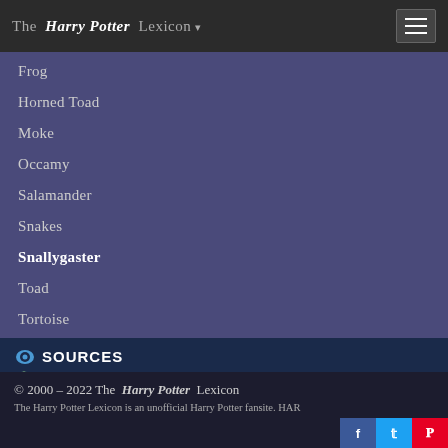The Harry Potter Lexicon
Frog
Horned Toad
Moke
Occamy
Salamander
Snakes
Snallygaster
Toad
Tortoise
SOURCES
Pottermore
Fantastic Beasts and Where to Find Them
© 2000 – 2022 The Harry Potter Lexicon
The Harry Potter Lexicon is an unofficial Harry Potter fansite. HAR